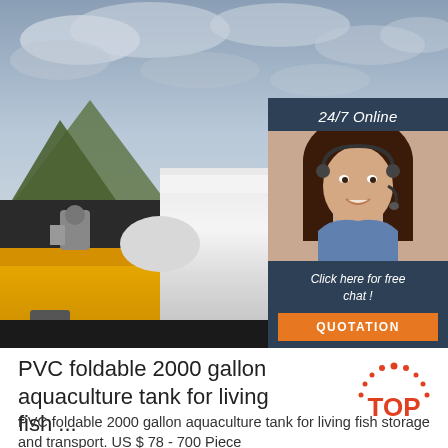[Figure (photo): Large white cylindrical industrial tank on a yellow flatbed truck/trailer, with mountains and overcast cloudy sky in the background. A customer service chat overlay panel is in the upper right showing a woman with a headset, text '24/7 Online', 'Click here for free chat!', and an orange 'QUOTATION' button.]
PVC foldable 2000 gallon aquaculture tank for living fish ...
PVC foldable 2000 gallon aquaculture tank for living fish storage and transport. US $ 78 - 700 Piece